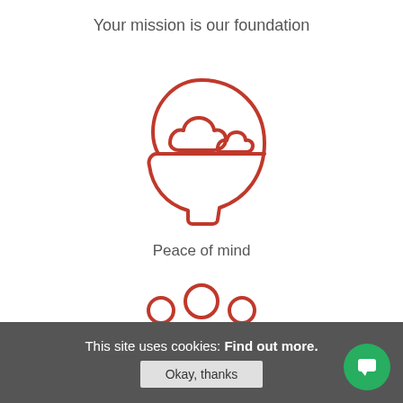Your mission is our foundation
[Figure (illustration): Red line-art icon of a human head profile with clouds inside, representing peace of mind]
Peace of mind
[Figure (illustration): Red line-art icon of a group of people (three figures), partially visible at bottom]
This site uses cookies: Find out more.
Okay, thanks